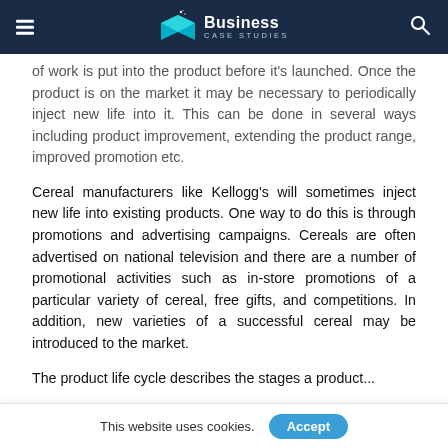Business Case Studies
of work is put into the product before it's launched. Once the product is on the market it may be necessary to periodically inject new life into it. This can be done in several ways including product improvement, extending the product range, improved promotion etc.
Cereal manufacturers like Kellogg's will sometimes inject new life into existing products. One way to do this is through promotions and advertising campaigns. Cereals are often advertised on national television and there are a number of promotional activities such as in-store promotions of a particular variety of cereal, free gifts, and competitions. In addition, new varieties of a successful cereal may be introduced to the market.
The product life cycle describes the stages a product goes through
This website uses cookies. Accept